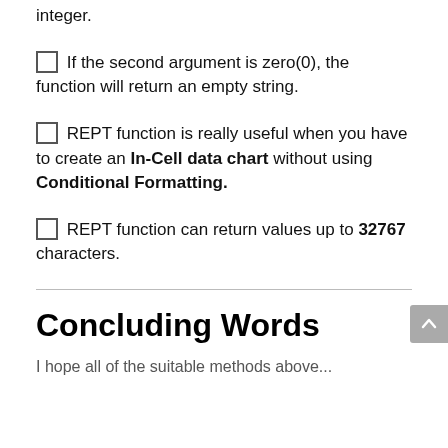integer.
□ If the second argument is zero(0), the function will return an empty string.
□ REPT function is really useful when you have to create an In-Cell data chart without using Conditional Formatting.
□ REPT function can return values up to 32767 characters.
Concluding Words
I hope all of the suitable methods above...